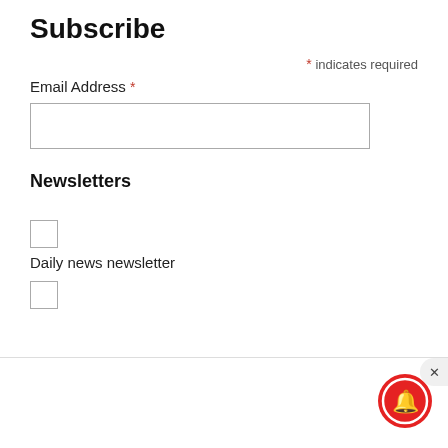Subscribe
* indicates required
Email Address *
Newsletters
Daily news newsletter